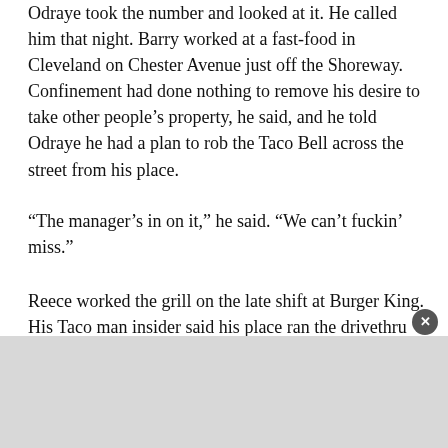Odraye took the number and looked at it. He called him that night. Barry worked at a fast-food in Cleveland on Chester Avenue just off the Shoreway. Confinement had done nothing to remove his desire to take other people’s property, he said, and he told Odraye he had a plan to rob the Taco Bell across the street from his place.
“The manager’s in on it,” he said. “We can’t fuckin’ miss.”
Reece worked the grill on the late shift at Burger King. His Taco man insider said his place ran the drivethru until two a.m. during summer hours, but they locked the doors at midnight. “A duplicate key, a single robber with a gun—the day’s receipts are bagged for deposit and kept in the middle drawer of the manager’s desk inside his office—you’re in, you’re out. We split two